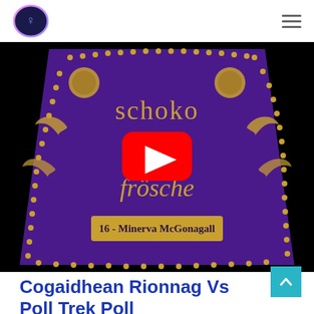Logo and navigation menu
[Figure (screenshot): YouTube video thumbnail showing a purple chocolate frog card with gold decorative dots border, bats motif, text 'schoko frösche' and '16 - Minerva McGonagall', with a red YouTube play button overlay. The card has a trapezoid shape on dark/black background.]
Cogaidhean Rionnag Vs Poll Trek Poll